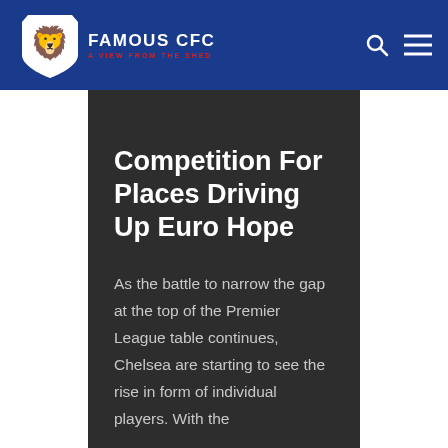FAMOUS CFC — A VIEW FROM THE SHED
Competition For Places Driving Up Euro Hope
As the battle to narrow the gap at the top of the Premier League table continues, Chelsea are starting to see the rise in form of individual players. With the